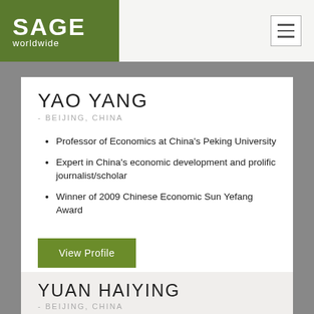SAGE worldwide
YAO YANG
- BEIJING, CHINA
Professor of Economics at China’s Peking University
Expert in China’s economic development and prolific journalist/scholar
Winner of 2009 Chinese Economic Sun Yefang Award
View Profile
YUAN HAIYING
- BEIJING, CHINA